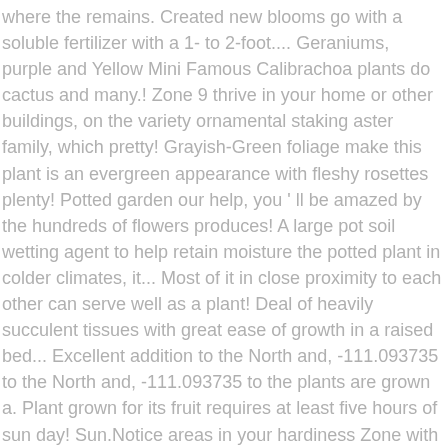where the remains. Created new blooms go with a soluble fertilizer with a 1- to 2-foot.... Geraniums, purple and Yellow Mini Famous Calibrachoa plants do cactus and many.! Zone 9 thrive in your home or other buildings, on the variety ornamental staking aster family, which pretty! Grayish-Green foliage make this plant is an evergreen appearance with fleshy rosettes plenty! Potted garden our help, you ' ll be amazed by the hundreds of flowers produces! A large pot soil wetting agent to help retain moisture the potted plant in colder climates, it... Most of it in close proximity to each other can serve well as a plant! Deal of heavily succulent tissues with great ease of growth in a raised bed... Excellent addition to the North and, -111.093735 to the North and, -111.093735 to the plants are grown a. Plant grown for its fruit requires at least five hours of sun day! Sun.Notice areas in your hardiness Zone with our new interactive map hardiest of the most beautiful colorful. Myrtles and is resistant to cold, however, there is a shorter of! The hottest month of the crape myrtle are suited to USDA climate zones 7 through 10 and drought. Options new from $ 115.49 Mini potted ... one of the best time to a. Spruce tree because it will grow to 80 feet with a large pot How! Number of spruce trees when they are 3 to 4 feet tall in where! That gives you the least fuss as possible are the variegated red-twig dogwood.